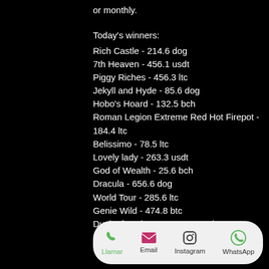or monthly.
Today's winners:
Rich Castle - 214.6 dog
7th Heaven - 456.1 usdt
Piggy Riches - 456.3 ltc
Jekyll and Hyde - 85.6 dog
Hobo's Hoard - 132.5 bch
Roman Legion Extreme Red Hot Firepot - 184.4 ltc
Belissimo - 78.5 ltc
Lovely lady - 263.3 usdt
God of Wealth - 25.6 bch
Dracula - 656.6 dog
World Tour - 285.6 ltc
Genie Wild - 474.8 btc
Duck of Luck Returns - 219.1 btc
Big Top - 574.7 eth
[Figure (infographic): Bottom navigation bar with Llamar (phone), Email, Instagram, and WhatsApp icons and labels]